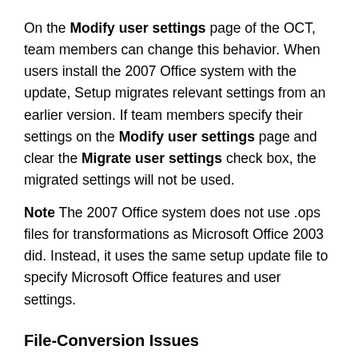On the Modify user settings page of the OCT, team members can change this behavior. When users install the 2007 Office system with the update, Setup migrates relevant settings from an earlier version. If team members specify their settings on the Modify user settings page and clear the Migrate user settings check box, the migrated settings will not be used.
Note The 2007 Office system does not use .ops files for transformations as Microsoft Office 2003 did. Instead, it uses the same setup update file to specify Microsoft Office features and user settings.
File-Conversion Issues
The 2007 Office system uses a new, Extensible Markup Language (XML)-based file format—Office Open XML Formats. This format is currently used in the 2007 Office